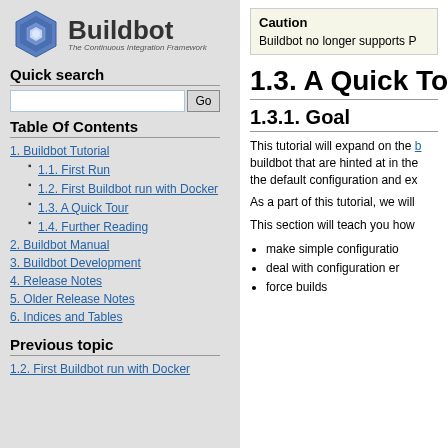[Figure (logo): Buildbot logo with hexagonal nut icon and text 'Buildbot - The Continuous Integration Framework']
Quick search
[search input box] Go
Table Of Contents
1. Buildbot Tutorial
1.1. First Run
1.2. First Buildbot run with Docker
1.3. A Quick Tour
1.4. Further Reading
2. Buildbot Manual
3. Buildbot Development
4. Release Notes
5. Older Release Notes
6. Indices and Tables
Previous topic
1.2. First Buildbot run with Docker
Caution
Buildbot no longer supports P
1.3. A Quick To
1.3.1. Goal
This tutorial will expand on the b buildbot that are hinted at in the the default configuration and ex
As a part of this tutorial, we will
This section will teach you how
make simple configuratio
deal with configuration er
force builds